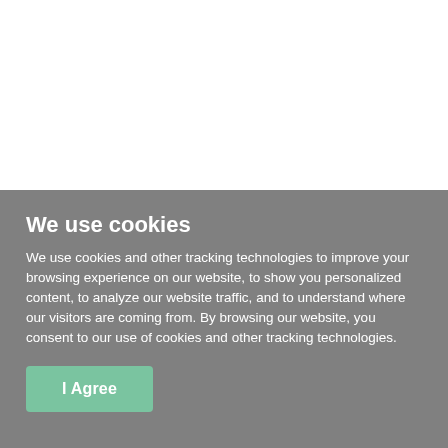We use cookies
We use cookies and other tracking technologies to improve your browsing experience on our website, to show you personalized content, to analyze our website traffic, and to understand where our visitors are coming from. By browsing our website, you consent to our use of cookies and other tracking technologies.
I Agree